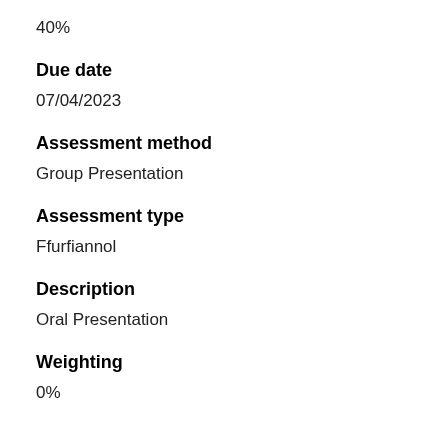40%
Due date
07/04/2023
Assessment method
Group Presentation
Assessment type
Ffurfiannol
Description
Oral Presentation
Weighting
0%